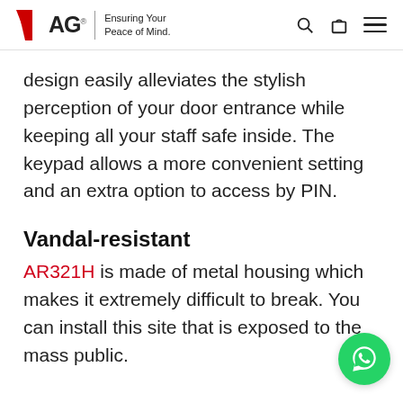MAG | Ensuring Your Peace of Mind.
design easily alleviates the stylish perception of your door entrance while keeping all your staff safe inside. The keypad allows a more convenient setting and an extra option to access by PIN.
Vandal-resistant
AR321H is made of metal housing which makes it extremely difficult to break. You can install this site that is exposed to the mass public.